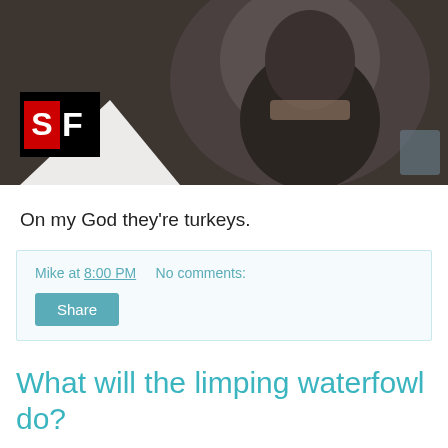[Figure (screenshot): YouTube video thumbnail showing a person in dark clothing with an SF logo overlay in lower left and YouTube play button at top center]
On my God they're turkeys.
Mike at 8:00 PM    No comments:
Share
What will the limping waterfowl do?
DaTech Guy wonders about the lame duck session of Congress.